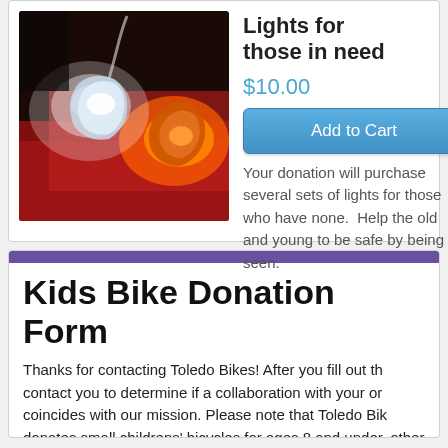[Figure (photo): Close-up photo of bicycle LED lights glowing white and red/orange against a dark background, attached to a red surface]
Lights for those in need
$10.00
Add to Cart
Your donation will purchase several sets of lights for those who have none.  Help the old and young to be safe by being seen.
Kids Bike Donation Form
Thanks for contacting Toledo Bikes! After you fill out th contact you to determine if a collaboration with your or coincides with our mission. Please note that Toledo Bik donates small childrens' bicycles for ages 8 and under. other classes/programs in which they can earn a bike th